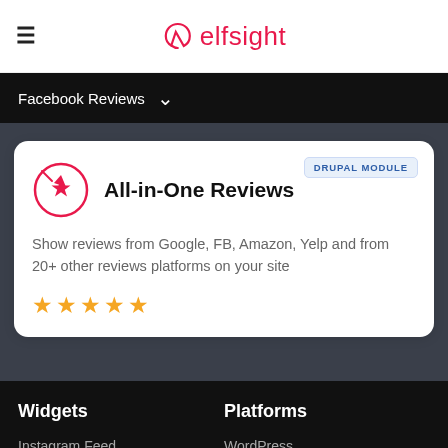elfsight
Facebook Reviews
All-in-One Reviews
Show reviews from Google, FB, Amazon, Yelp and from 20+ other reviews platforms on your site
[Figure (other): Five gold star rating]
Widgets
Platforms
Instagram Feed
Google Reviews
WordPress
Shopify